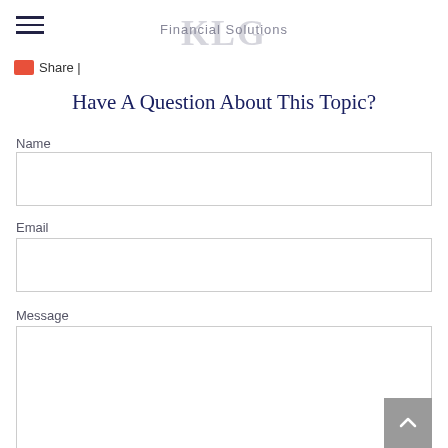KLG Financial Solutions
Share |
Have A Question About This Topic?
Name
Email
Message